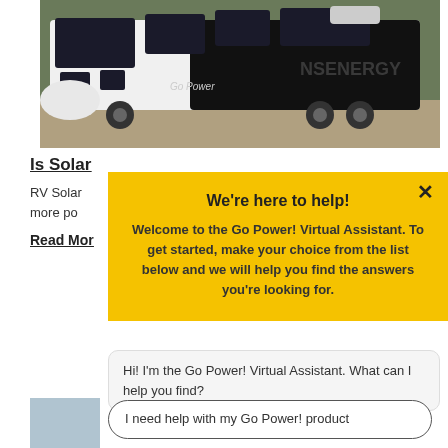[Figure (photo): RV/travel trailer with solar panels on the roof, black and white exterior, parked outdoors. 'Go Power' branding visible on the side.]
Is Solar...
RV Solar ... more po...
Read Mor...
[Figure (screenshot): Yellow modal chat popup: 'We're here to help! Welcome to the Go Power! Virtual Assistant. To get started, make your choice from the list below and we will help you find the answers you're looking for.' with X close button.]
Hi! I'm the Go Power! Virtual Assistant. What can I help you find?
I need help with my Go Power! product